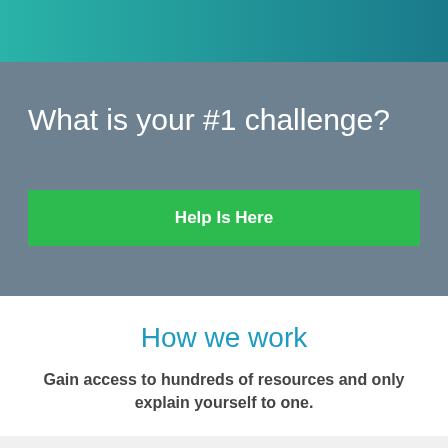[Figure (other): Teal/green gradient header bar at top of page]
What is your #1 challenge?
Help Is Here
How we work
Gain access to hundreds of resources and only explain yourself to one.